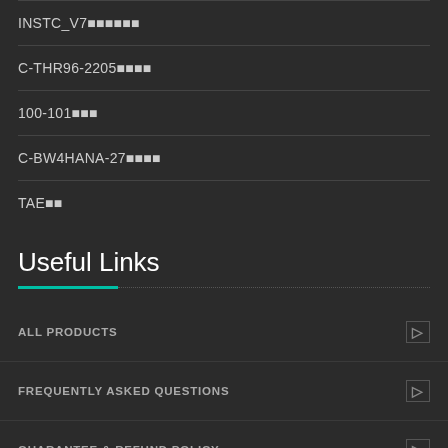INSTC_V7试题及答案
C-THR96-2205试题及答案
100-101试题
C-BW4HANA-27试题及答案
TAE试题
Useful Links
ALL PRODUCTS
FREQUENTLY ASKED QUESTIONS
GUARANTEE & REFUND POLICY
HOW TO BUY?
ABOUT US